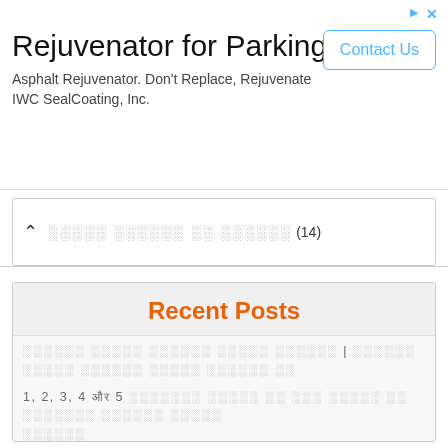[Figure (other): Advertisement banner for 'Rejuvenator for Parking Lots' by IWC SealCoating, Inc. with a 'Contact Us' button]
░░░░░ ░░░░░░ ░░ ░░░░░░ (14)
Recent Posts
[redacted text] | [redacted text]
1, 2, 3, 4 और 5 [redacted] [redacted text]
[redacted text]
How many bags in a pallet of mulch